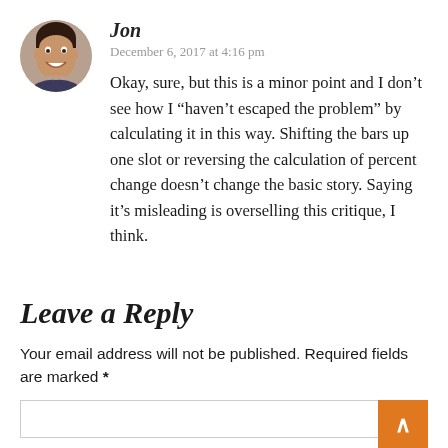[Figure (photo): Circular avatar photo of a smiling young man]
Jon
December 6, 2017 at 4:16 pm
Okay, sure, but this is a minor point and I don't see how I “haven't escaped the problem” by calculating it in this way. Shifting the bars up one slot or reversing the calculation of percent change doesn't change the basic story. Saying it's misleading is overselling this critique, I think.
Leave a Reply
Your email address will not be published. Required fields are marked *